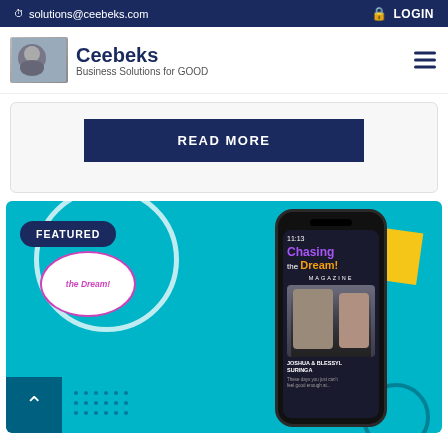solutions@ceebeks.com   LOGIN
[Figure (screenshot): Ceebeks website navigation bar with logo showing hands, brand name Ceebeks, tagline Business Solutions for GOOD, and hamburger menu]
READ MORE
[Figure (screenshot): Featured section with teal background showing a phone mockup displaying Chasing the Dream! Magazine with Joshua & Blessyl Suringa on cover, FEATURED badge, circular decoration, yellow accent shape, and scroll-to-top button]